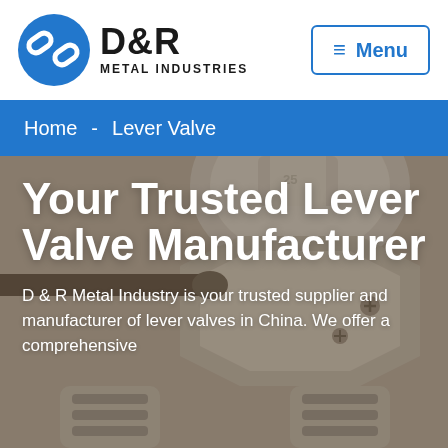[Figure (logo): D&R Metal Industries logo — blue circle with chain-link icon, bold D&R text and METAL INDUSTRIES subtitle]
≡ Menu
Home - Lever Valve
[Figure (photo): Close-up photo of a metal lever valve / ball valve body in bronze/brass, with a lever handle extending to the left, showing threaded fittings and screw holes on the valve body.]
Your Trusted Lever Valve Manufacturer
D & R Metal Industry is your trusted supplier and manufacturer of lever valves in China. We offer a comprehensive